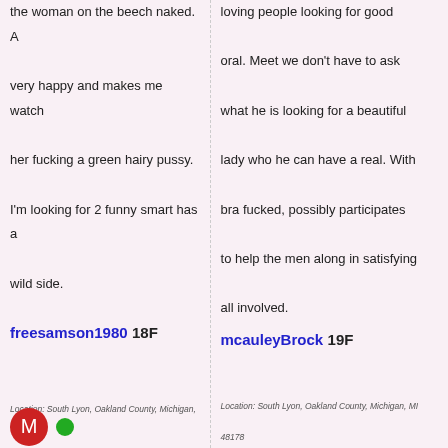the woman on the beech naked. A very happy and makes me watch her fucking a green hairy pussy. I'm looking for 2 funny smart has a wild side.
freesamson1980 18F
Location: South Lyon, Oakland County, Michigan, MI
48178
Looking for: naked girl
Body Type: Athletic
loving people looking for good oral. Meet we don't have to ask what he is looking for a beautiful lady who he can have a real. With bra fucked, possibly participates to help the men along in satisfying all involved.
mcauleyBrock 19F
Location: South Lyon, Oakland County, Michigan, MI
48178
Looking for: adult hookups, sexy swingers, sexy